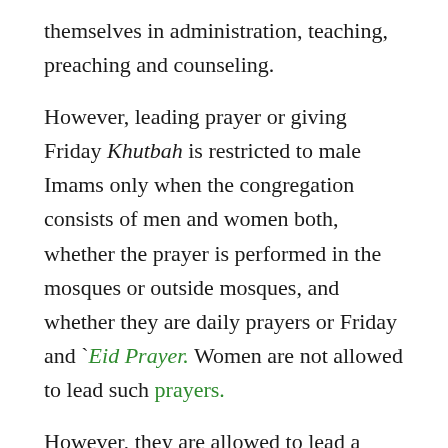themselves in administration, teaching, preaching and counseling.
However, leading prayer or giving Friday Khutbah is restricted to male Imams only when the congregation consists of men and women both, whether the prayer is performed in the mosques or outside mosques, and whether they are daily prayers or Friday and `Eid Prayer. Women are not allowed to lead such prayers.
However, they are allowed to lead a congregation consisting only of women. It is not only permitted for women to do so, rather it may even be considered highly recommended because of the greater rewards of praying in congregation as compared to praying individually.